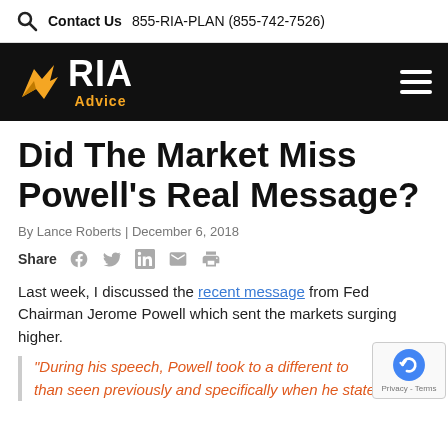Contact Us  855-RIA-PLAN (855-742-7526)
[Figure (logo): RIA Advice logo with eagle icon on black navigation bar]
Did The Market Miss Powell's Real Message?
By Lance Roberts | December 6, 2018
Share [social icons: Facebook, Twitter, LinkedIn, Email, Print]
Last week, I discussed the recent message from Fed Chairman Jerome Powell which sent the markets surging higher.
"During his speech, Powell took to a different to than seen previously and specifically when he stated